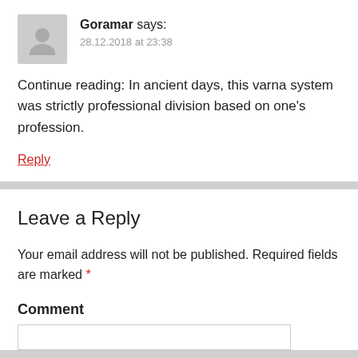Goramar says:
28.12.2018 at 23:38
Continue reading: In ancient days, this varna system was strictly professional division based on one's profession.
Reply
Leave a Reply
Your email address will not be published. Required fields are marked *
Comment